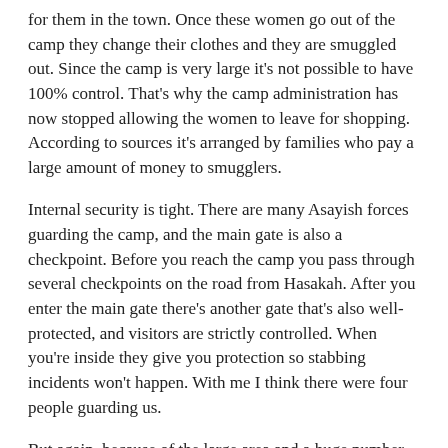for them in the town. Once these women go out of the camp they change their clothes and they are smuggled out. Since the camp is very large it's not possible to have 100% control. That's why the camp administration has now stopped allowing the women to leave for shopping. According to sources it's arranged by families who pay a large amount of money to smugglers.
Internal security is tight. There are many Asayish forces guarding the camp, and the main gate is also a checkpoint. Before you reach the camp you pass through several checkpoints on the road from Hasakah. After you enter the main gate there's another gate that's also well-protected, and visitors are strictly controlled. When you're inside they give you protection so stabbing incidents won't happen. With me I think there were four people guarding us.
But again, because of the large area and a huge number of residents it's not very easy to control the camp, and since you don't know what's inside of the tents or what kind of weapons they might have it's not 100% safe or secured.